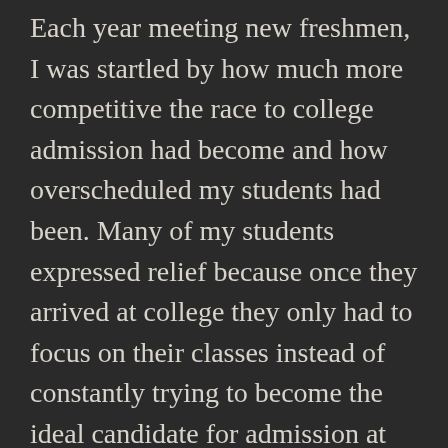Each year meeting new freshmen, I was startled by how much more competitive the race to college admission had become and how overscheduled my students had been. Many of my students expressed relief because once they arrived at college they only had to focus on their classes instead of constantly trying to become the ideal candidate for admission at their college of choice.
Thinking about my seventeenth year, I often feel like I was haunted by the future, constantly chased by ghosts of what was yet